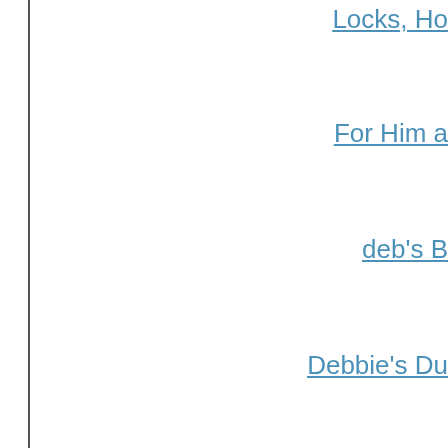Locks, Ho...
For Him a...
deb's B...
Debbie's Du...
Tell Tale Book Rev...
Myprecious...
Happily Managing...
Because I said so — and ...
Ashley's Cle...
Truth and Gra...